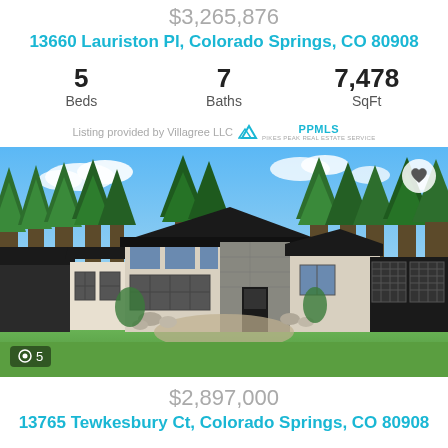$3,265,876
13660 Lauriston Pl, Colorado Springs, CO 80908
| Beds | Baths | SqFt |
| --- | --- | --- |
| 5 | 7 | 7,478 |
Listing provided by Villagree LLC PPMLS
[Figure (illustration): Exterior rendering of a modern luxury home with black roof, stone accent, cream stucco walls, large windows, three-car garage, surrounded by tall evergreen trees under a blue sky.]
$2,897,000
13765 Tewkesbury Ct, Colorado Springs, CO 80908
| Beds | Baths | SqFt |
| --- | --- | --- |
| 5 | 7 | 6,180 |